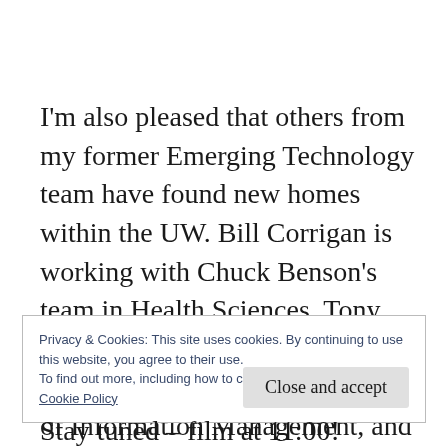I'm also pleased that others from my former Emerging Technology team have found new homes within the UW. Bill Corrigan is working with Chuck Benson's team in Health Sciences, Tony Chang is working as an Integration Architect in the Office of Information Management, and Melissa Albin is also working
Privacy & Cookies: This site uses cookies. By continuing to use this website, you agree to their use.
To find out more, including how to control cookies, see here:
Cookie Policy
[Close and accept]
Stay tuned – film at 11:00!